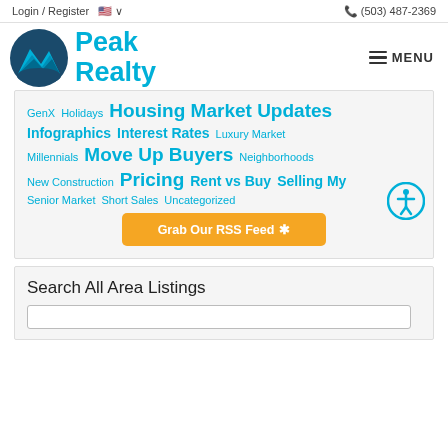Login / Register   (503) 487-2369
[Figure (logo): Peak Realty logo with cyan mountain/wave icon and 'Peak Realty' text in cyan, plus hamburger MENU button on right]
GenX   Holidays   Housing Market Updates   Infographics   Interest Rates   Luxury Market   Millennials   Move Up Buyers   Neighborhoods   New Construction   Pricing   Rent vs Buy   Selling My   Senior Market   Short Sales   Uncategorized
Grab Our RSS Feed
Search All Area Listings